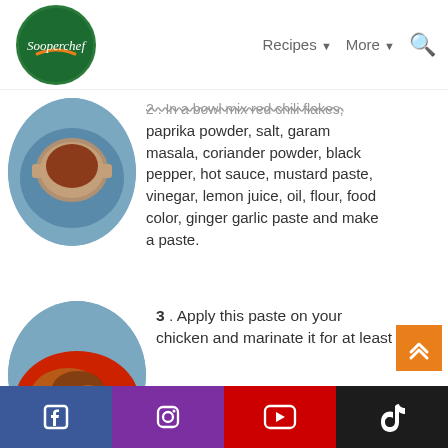Sooperchef — Recipes ∨  More ∨  🔍
2 . In a bowl mix red chili flakes, paprika powder, salt, garam masala, coriander powder, black pepper, hot sauce, mustard paste, vinegar, lemon juice, oil, flour, food color, ginger garlic paste and make a paste.
[Figure (photo): Overhead view of a bowl filled with red-brown spice mixture on a blue stone plate]
3 . Apply this paste on your chicken and marinate it for at least
[Figure (photo): Marinated chicken pieces on a red plate on a blue stone surface]
Social media links: Facebook, Instagram, YouTube, TikTok